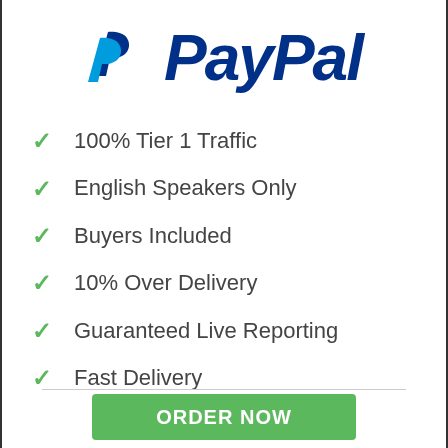[Figure (logo): PayPal logo: two overlapping 'P' letters in light blue and dark blue, followed by 'PayPal' text in dark navy blue italic bold font]
100% Tier 1 Traffic
English Speakers Only
Buyers Included
10% Over Delivery
Guaranteed Live Reporting
Fast Delivery
ORDER NOW